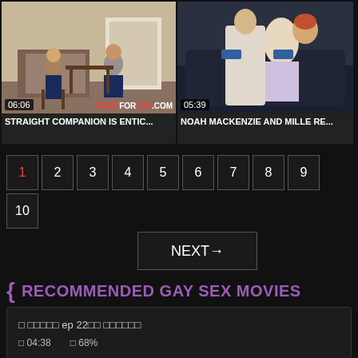[Figure (photo): Video thumbnail showing two men sitting at a table indoors. Duration badge: 06:06. Site watermark: GAMEFORGAY.COM]
STRAIGHT COMPANION IS ENTIC...
[Figure (photo): Video thumbnail showing a person on a couch. Duration badge: 05:39]
NOAH MACKENZIE AND MILLE RE...
1 2 3 4 5 6 7 8 9 10 — pagination, current page: 1
NEXT→
RECOMMENDED GAY SEX MOVIES
□ □□□□□ ep 22□□ □□□□□□
□ 04:38  □ 68%